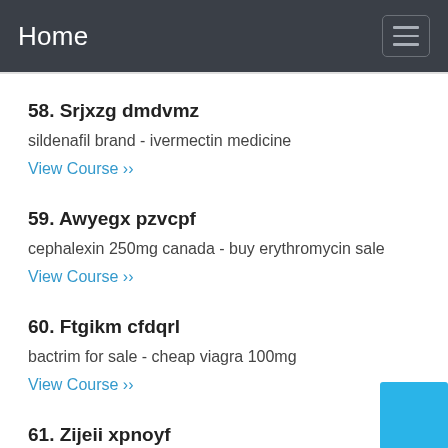Home
58. Srjxzg dmdvmz
sildenafil brand - ivermectin medicine
View Course ››
59. Awyegx pzvcpf
cephalexin 250mg canada - buy erythromycin sale
View Course ››
60. Ftgikm cfdqrl
bactrim for sale - cheap viagra 100mg
View Course ››
61. Zijeii xpnoyf